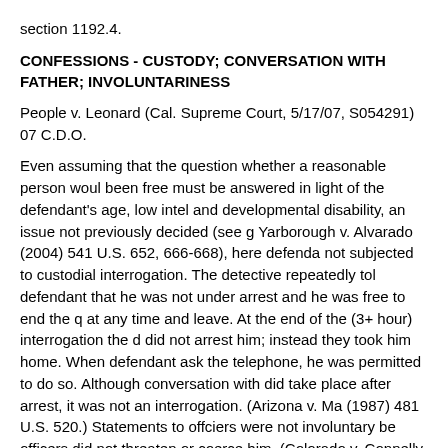section 1192.4.
CONFESSIONS - CUSTODY; CONVERSATION WITH FATHER; INVOLUNTARINESS
People v. Leonard (Cal. Supreme Court, 5/17/07, S054291) 07 C.D.O.
Even assuming that the question whether a reasonable person would have been free must be answered in light of the defendant's age, low intel and developmental disability, an issue not previously decided (see g Yarborough v. Alvarado (2004) 541 U.S. 652, 666-668), here defenda not subjected to custodial interrogation. The detective repeatedly told defendant that he was not under arrest and he was free to end the q at any time and leave. At the end of the (3+ hour) interrogation the d did not arrest him; instead they took him home. When defendant ask the telephone, he was permitted to do so. Although conversation with did take place after arrest, it was not an interrogation. (Arizona v. Ma (1987) 481 U.S. 520.) Statements to offciers were not involuntary be officers did not threaten or coerce him. (Colorado v. Connelly (1986) 157, 167.)
DEATH PENALTY